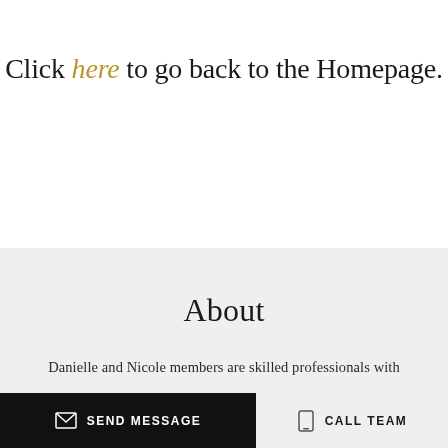Click here to go back to the Homepage.
About
Danielle and Nicole members are skilled professionals with
SEND MESSAGE
CALL TEAM